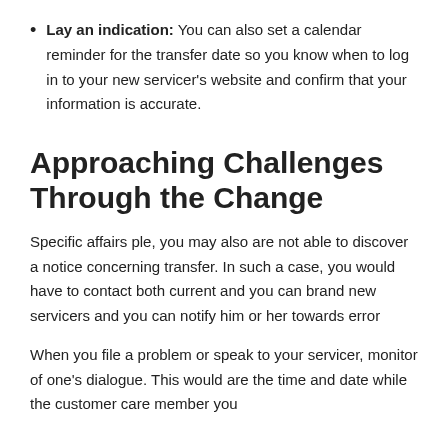Lay an indication: You can also set a calendar reminder for the transfer date so you know when to log in to your new servicer's website and confirm that your information is accurate.
Approaching Challenges Through the Change
Specific affairs ple, you may also are not able to discover a notice concerning transfer. In such a case, you would have to contact both current and you can brand new servicers and you can notify him or her towards error
When you file a problem or speak to your servicer, monitor of one's dialogue. This would are the time and date while the customer care member you